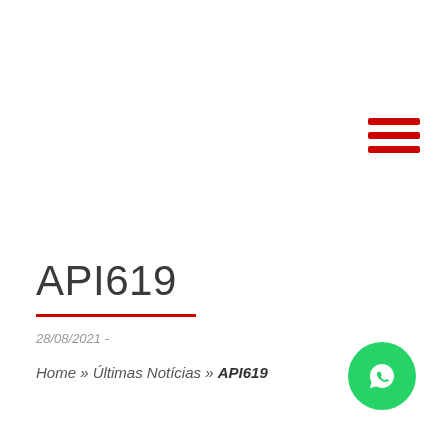[Figure (other): Hamburger menu icon with three red horizontal bars]
API619
28/08/2021 -
Home » Últimas Notícias » API619
[Figure (other): WhatsApp floating button icon (green circle with phone/chat icon)]